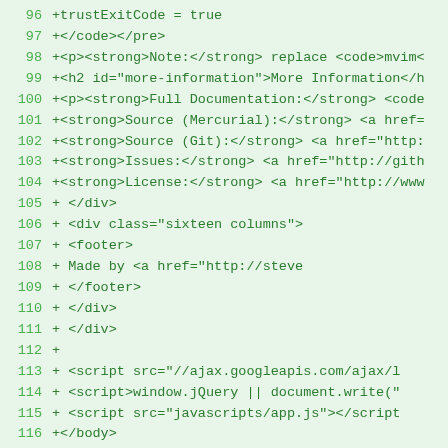[Figure (screenshot): Code diff viewer showing lines 96-117 of an HTML file, green text on light green background, monospace font. Lines show added HTML markup including closing tags, paragraphs, headings, script tags, and footer elements.]